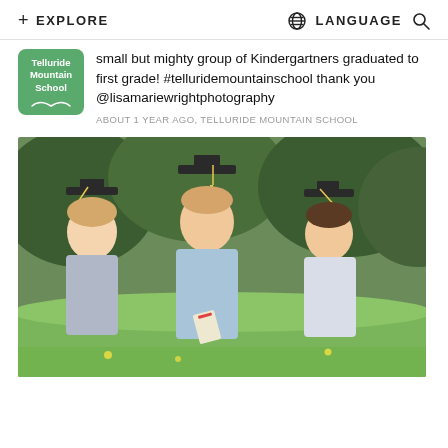+ EXPLORE   🌐 LANGUAGE 🔍
[Figure (logo): Telluride Mountain School green rounded square logo]
small but mighty group of Kindergartners graduated to first grade! #telluridemountainschool thank you @lisamariewrightphotography
ABOUT 1 YEAR AGO, TELLURIDE MOUNTAIN SCHOOL
[Figure (photo): Three young boys in graduation caps and gowns smiling outdoors in a grassy field with trees in the background]